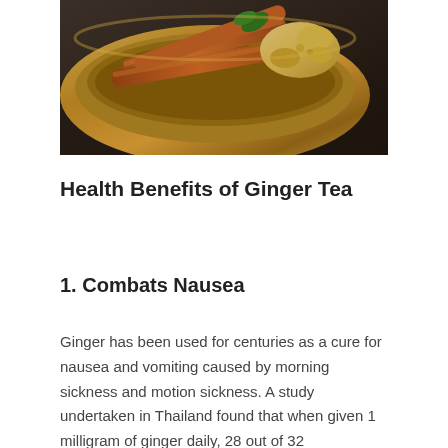[Figure (photo): Photo of cinnamon sticks and ginger root in a wooden bowl on a dark surface]
Health Benefits of Ginger Tea
1. Combats Nausea
Ginger has been used for centuries as a cure for nausea and vomiting caused by morning sickness and motion sickness. A study undertaken in Thailand found that when given 1 milligram of ginger daily, 28 out of 32